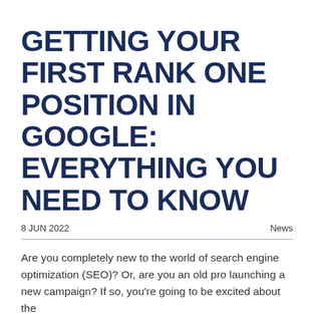GETTING YOUR FIRST RANK ONE POSITION IN GOOGLE: EVERYTHING YOU NEED TO KNOW
8 JUN 2022    News
Are you completely new to the world of search engine optimization (SEO)? Or, are you an old pro launching a new campaign? If so, you're going to be excited about the